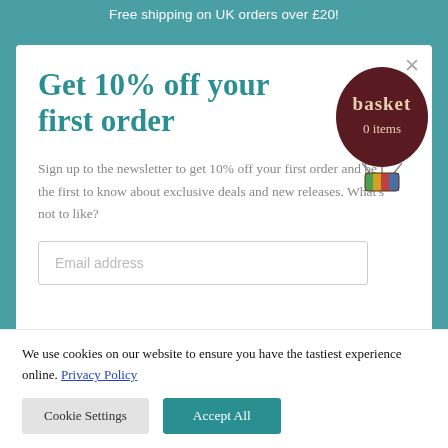Free shipping on UK orders over £20!
Get 10% off your first order
[Figure (illustration): A dark red/maroon hot air balloon badge with the word 'basket' in beige/cream serif font and '0 items' below it in smaller text]
Sign up to the newsletter to get 10% off your first order and be the first to know about exclusive deals and new releases. What's not to like?
Email address
We use cookies on our website to ensure you have the tastiest experience online. Privacy Policy
Cookie Settings
Accept All